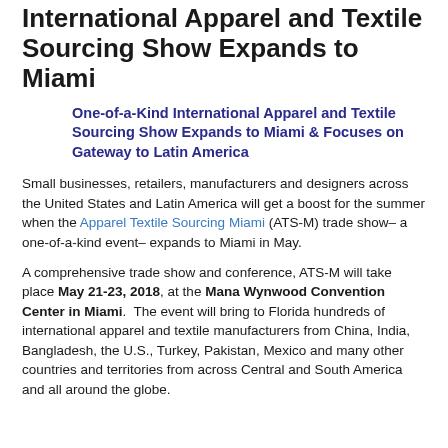International Apparel and Textile Sourcing Show Expands to Miami
One-of-a-Kind International Apparel and Textile Sourcing Show Expands to Miami & Focuses on Gateway to Latin America
Small businesses, retailers, manufacturers and designers across the United States and Latin America will get a boost for the summer when the Apparel Textile Sourcing Miami (ATS-M) trade show– a one-of-a-kind event– expands to Miami in May.
A comprehensive trade show and conference, ATS-M will take place May 21-23, 2018, at the Mana Wynwood Convention Center in Miami.  The event will bring to Florida hundreds of international apparel and textile manufacturers from China, India, Bangladesh, the U.S., Turkey, Pakistan, Mexico and many other countries and territories from across Central and South America and all around the globe.